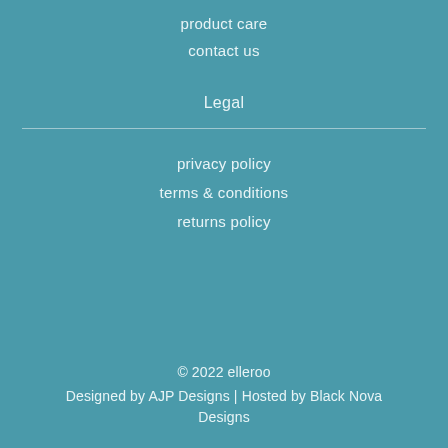product care
contact us
Legal
privacy policy
terms & conditions
returns policy
© 2022 elleroo
Designed by AJP Designs | Hosted by Black Nova Designs